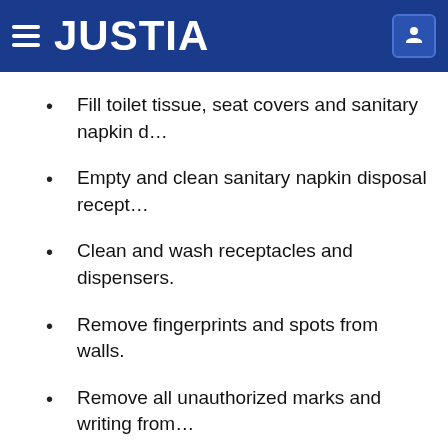JUSTIA
Fill toilet tissue, seat covers and sanitary napkin d…
Empty and clean sanitary napkin disposal recept…
Clean and wash receptacles and dispensers.
Remove fingerprints and spots from walls.
Remove all unauthorized marks and writing from…
Store Room/Janitors' Closets:
Remove trash from area.
Maintain an orderly arrangement of all janitoria…